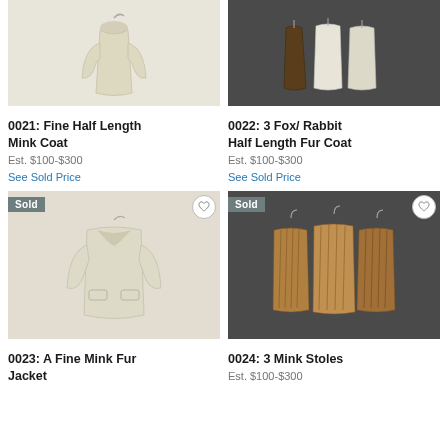[Figure (photo): Cream/white half length mink coat on hanger against white background]
[Figure (photo): Three fox/rabbit half length fur coats laid flat on dark background: brown, white, and cream]
0021: Fine Half Length Mink Coat
Est. $100-$300
See Sold Price
0022: 3 Fox/ Rabbit Half Length Fur Coat
Est. $100-$300
See Sold Price
[Figure (photo): Cream/white fine mink fur jacket with Sold badge and heart icon]
[Figure (photo): Three golden-brown mink stoles/capes on hangers with Sold badge and heart icon]
0023: A Fine Mink Fur Jacket
0024: 3 Mink Stoles
Est. $100-$300